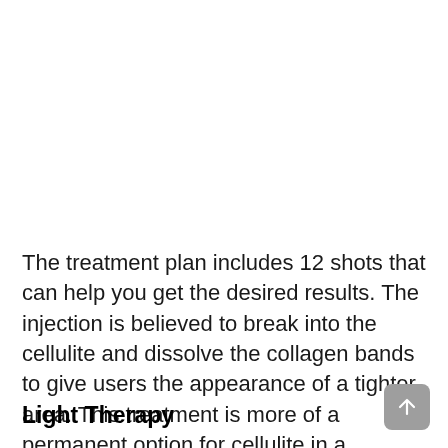The treatment plan includes 12 shots that can help you get the desired results. The injection is believed to break into the cellulite and dissolve the collagen bands to give users the appearance of a tighter area. This treatment is more of a permanent option for cellulite in a targeted area.
Light Therapy